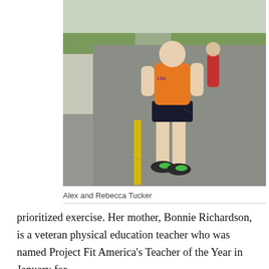[Figure (photo): A runner in an orange tank top and black shorts with black and green sneakers running on a road with a yellow center line. Another runner in red is visible in the background.]
Alex and Rebecca Tucker
prioritized exercise. Her mother, Bonnie Richardson, is a veteran physical education teacher who was named Project Fit America's Teacher of the Year in January for